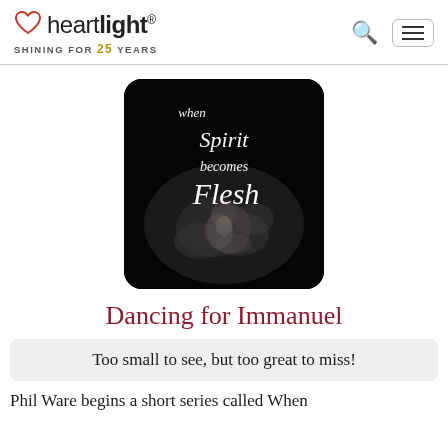heartlight® — SHINING FOR 25 YEARS
[Figure (illustration): Black background card with cursive white text reading 'when Spirit becomes Flesh' overlaid on an ultrasound image of a fetus.]
Dancing for Immanuel
Too small to see, but too great to miss!
Phil Ware begins a short series called When